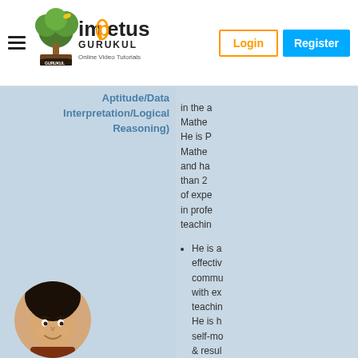Impetus Gurukul — Online Video Tutorials | Login | Register
Aptitude/Data Interpretation/Logical Reasoning)
in the a Mathematics He is P Mathematics and ha than 2 of expe in profe teachin He is a effectiv commu with ex teachin He is h self-mo & resul oriente mentor having
[Figure (photo): Circular profile photo of a young man smiling]